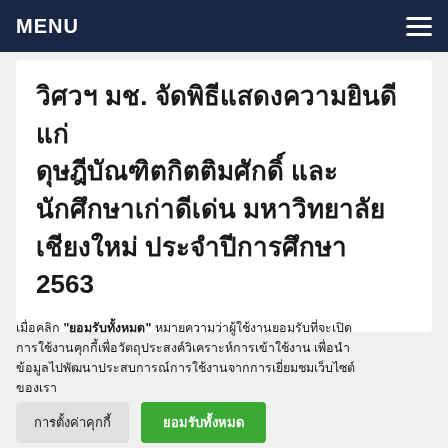MENU
วิศวฯ มช. จัดพิธีแสดงความยินดีแก่ดุษฎีบัณฑิตกิตติมศักดิ์ และนักศึกษาเก่าดีเด่น มหาวิทยาลัยเชียงใหม่ ประจำปีการศึกษา 2563
เมื่อคลิก "ยอมรับทั้งหมด" หมายความว่าผู้ใช้งานยอมรับที่จะเปิดการใช้งานคุกกี้เพื่อวัตถุประสงค์วิเคราะห์การเข้าใช้งาน เพื่อนำข้อมูลไปพัฒนาประสบการณ์การใช้งานจากการเยี่ยมชมเว็บไซต์ของเรา
การตั้งค่าคุกกี้
ยอมรับทั้งหมด